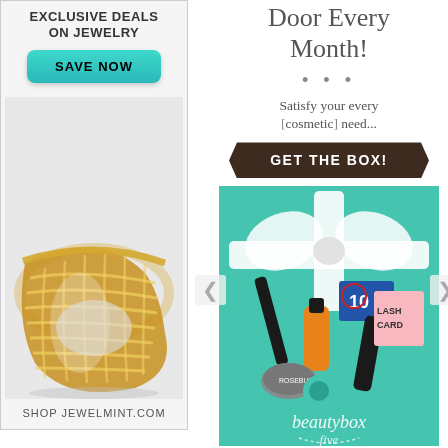[Figure (infographic): Left advertisement for JewelMint.com showing 'EXCLUSIVE DEALS ON JEWELRY' header, a teal 'SAVE NOW' button, a gold lattice cuff bracelet photo, and 'SHOP JEWELMINT.COM' footer text]
[Figure (infographic): Right advertisement for Beauty Box Five subscription service showing 'Door Every Month!' headline, decorative dots, 'Satisfy your every [cosmetic] need...' tagline, a dark brown 'GET THE BOX!' arrow-shaped button, and a teal gift box filled with beauty products with 'beautybox five' branding]